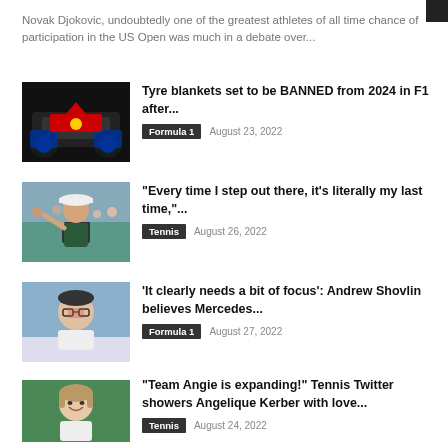Novak Djokovic, undoubtedly one of the greatest athletes of all time chance of participation in the US Open was much in a debate over...
[Figure (photo): Formula 1 car with tyre blankets]
Tyre blankets set to be BANNED from 2024 in F1 after...
Formula 1   August 23, 2022
[Figure (photo): Tennis player waving]
“Every time I step out there, it’s literally my last time,”...
Tennis   August 26, 2022
[Figure (photo): Andrew Shovlin portrait]
‘It clearly needs a bit of focus’: Andrew Shovlin believes Mercedes...
Formula 1   August 27, 2022
[Figure (photo): Angelique Kerber smiling]
“Team Angie is expanding!” Tennis Twitter showers Angelique Kerber with love...
Tennis   August 24, 2022